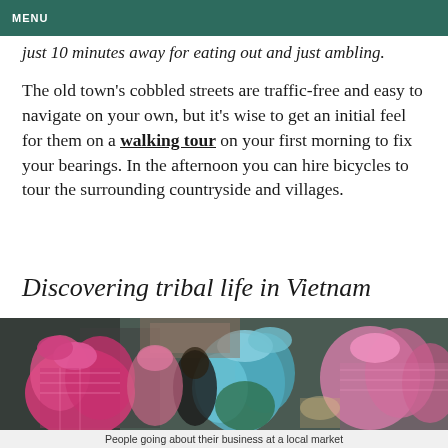MENU
just 10 minutes away for eating out and just ambling.
The old town's cobbled streets are traffic-free and easy to navigate on your own, but it's wise to get an initial feel for them on a walking tour on your first morning to fix your bearings. In the afternoon you can hire bicycles to tour the surrounding countryside and villages.
Discovering tribal life in Vietnam
[Figure (photo): Colorful crowd of women wearing traditional tribal clothing and headdresses at a local market in Vietnam]
People going about their business at a local market